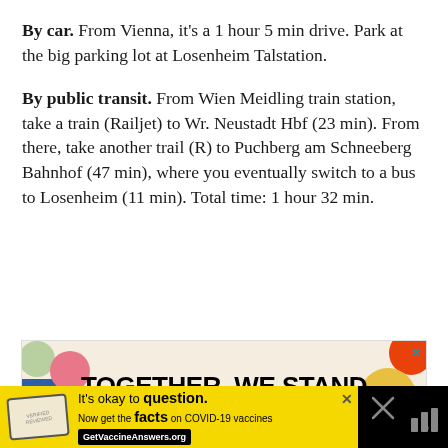By car. From Vienna, it's a 1 hour 5 min drive. Park at the big parking lot at Losenheim Talstation.
By public transit. From Wien Meidling train station, take a train (Railjet) to Wr. Neustadt Hbf (23 min). From there, take another trail (R) to Puchberg am Schneeberg Bahnhof (47 min), where you eventually switch to a bus to Losenheim (11 min). Total time: 1 hour 32 min.
[Figure (illustration): Advertisement banner reading 'TOGETHER, WE STAND' with colorful abstract shapes on left and right sides and a close X button.]
[Figure (illustration): Yellow advertisement bar at bottom: stamp logo, text 'It's okay to question. Now get the facts on COVID-19 vaccines GetVaccineAnswers.org' with close button. Black bar on right with X and audio icon.]